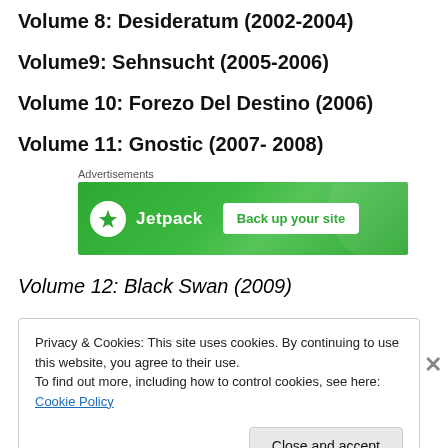Volume 8: Desideratum (2002-2004)
Volume9: Sehnsucht (2005-2006)
Volume 10: Forezo Del Destino (2006)
Volume 11: Gnostic (2007- 2008)
[Figure (other): Jetpack advertisement banner: green background with Jetpack logo and 'Back up your site' button]
Volume 12: Black Swan (2009)
Privacy & Cookies: This site uses cookies. By continuing to use this website, you agree to their use.
To find out more, including how to control cookies, see here: Cookie Policy